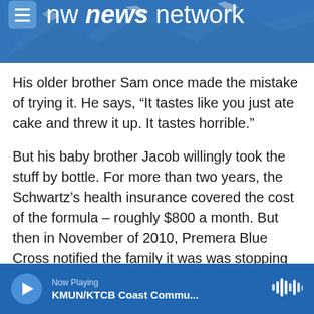[Figure (screenshot): NW News Network website header with logo on blue background with mountain photo]
His older brother Sam once made the mistake of trying it. He says, “It tastes like you just ate cake and threw it up. It tastes horrible.”
But his baby brother Jacob willingly took the stuff by bottle. For more than two years, the Schwartz’s health insurance covered the cost of the formula – roughly $800 a month. But then in November of 2010, Premera Blue Cross notified the family it was was stopping coverage.
“It was a devastating letter to have received because we knew how expensive it was,” says
Now Playing
KMUN/KTCB Coast Commu...